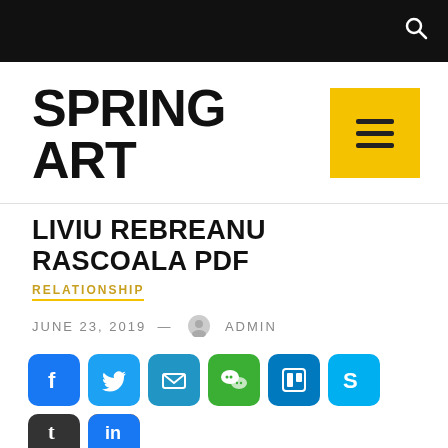SPRING ART
LIVIU REBREANU RASCOALA PDF
RELATIONSHIP
JUNE 23, 2019 — ADMIN
[Figure (other): Row of social media sharing buttons: Facebook, Twitter, Email, WeChat, Trello, Skype, Add, Odnoklassniki, and partial row with T (Tumblr) and LinkedIn]